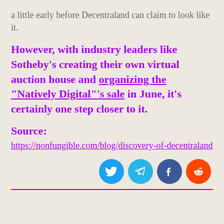a little early before Decentraland can claim to look like it.
However, with industry leaders like Sotheby's creating their own virtual auction house and organizing the "Natively Digital"'s sale in June, it's certainly one step closer to it.
Source: https://nonfungible.com/blog/discovery-of-decentraland
[Figure (infographic): Social media share icons: Twitter (blue), Telegram (light blue), Facebook (dark blue), Reddit (orange)]